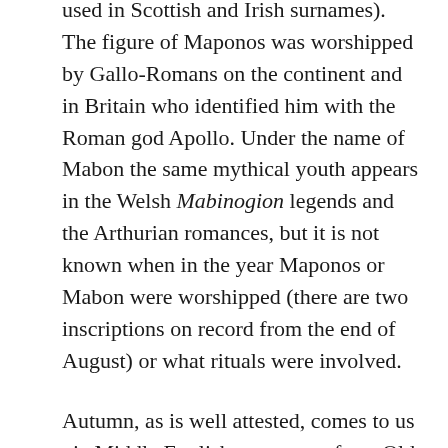used in Scottish and Irish surnames). The figure of Maponos was worshipped by Gallo-Romans on the continent and in Britain who identified him with the Roman god Apollo. Under the name of Mabon the same mythical youth appears in the Welsh Mabinogion legends and the Arthurian romances, but it is not known when in the year Maponos or Mabon were worshipped (there are two inscriptions on record from the end of August) or what rituals were involved.
Autumn, as is well attested, comes to us via Middle English autumpne, from Old French autompne, itself from Latin autumnus which is said to be adapted from a lost Etruscan or Venetic root autu-, but could equally be formed from Italic au(ct)- meaning dry (the notion of drying leaves and grass, in John Clare's words; The ground parched and cracked is like overbaked bread...the